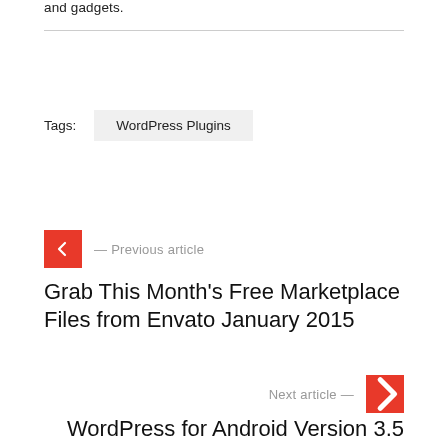and gadgets.
Tags: WordPress Plugins
← Previous article
Grab This Month's Free Marketplace Files from Envato January 2015
Next article →
WordPress for Android Version 3.5